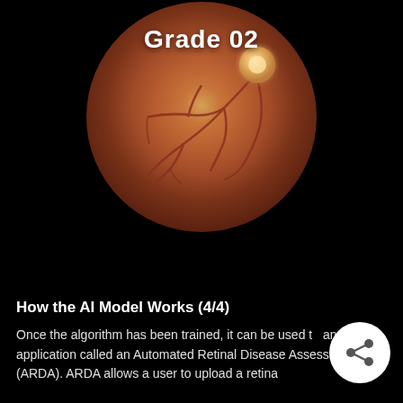[Figure (photo): Fundus/retinal photograph showing a circular eye scan image on black background. A bright optic disc is visible on the upper right of the retina. The text 'Grade 02' is overlaid in white bold text near the top center of the circular image. Blood vessels are visible branching across the retina.]
How the AI Model Works (4/4)
Once the algorithm has been trained, it can be used to an application called an Automated Retinal Disease Assessment (ARDA). ARDA allows a user to upload a retina